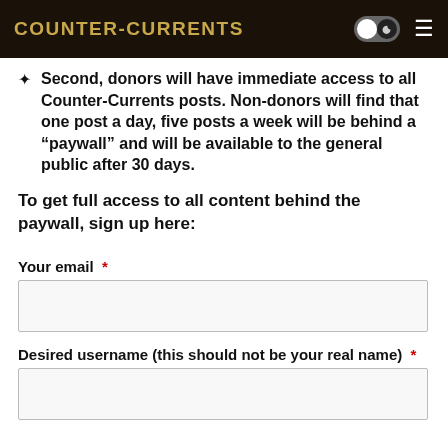Counter-Currents
Second, donors will have immediate access to all Counter-Currents posts. Non-donors will find that one post a day, five posts a week will be behind a “paywall” and will be available to the general public after 30 days.
To get full access to all content behind the paywall, sign up here:
Your email *
Desired username (this should not be your real name) *